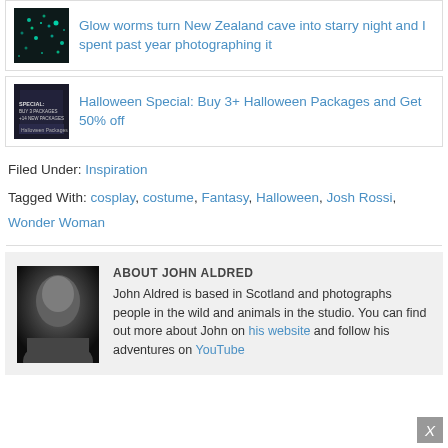[Figure (photo): Thumbnail image for glow worms article - dark cave with teal/green glowing lights]
Glow worms turn New Zealand cave into starry night and I spent past year photographing it
[Figure (photo): Thumbnail image for Halloween Special article - dark promotional image with text]
Halloween Special: Buy 3+ Halloween Packages and Get 50% off
Filed Under: Inspiration
Tagged With: cosplay, costume, Fantasy, Halloween, Josh Rossi, Wonder Woman
[Figure (photo): Black and white portrait photo of John Aldred]
ABOUT JOHN ALDRED
John Aldred is based in Scotland and photographs people in the wild and animals in the studio. You can find out more about John on his website and follow his adventures on YouTube